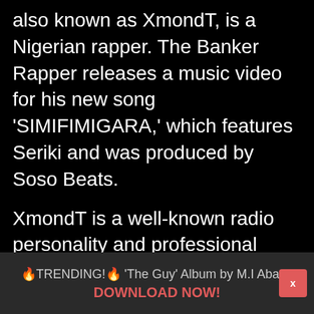also known as XmondT, is a Nigerian rapper. The Banker Rapper releases a music video for his new song 'SIMIFIMIGARA,' which features Seriki and was produced by Soso Beats.

XmondT is a well-known radio personality and professional music producer. He was born in Ifon, Ondo State, Nigeria. He intends to begin releasing songs of various genres. Toye, the Xtraordinary Man of No
🔥TRENDING!🔥 'The Guy' Album by M.I Abaga
DOWNLOAD NOW!